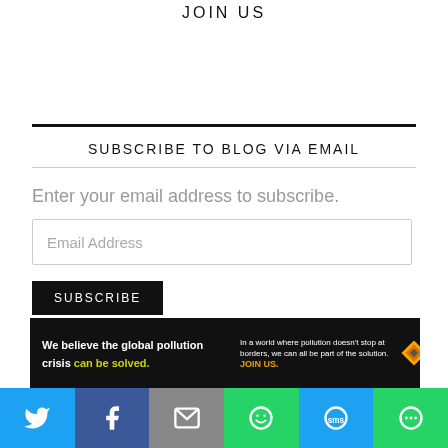JOIN US
SUBSCRIBE TO BLOG VIA EMAIL
Enter your email address to subscribe.
Email Address
SUBSCRIBE
[Figure (infographic): Pure Earth advertisement banner: 'We believe the global pollution crisis can be solved. In a world where pollution doesn't stop at borders, we can all be part of the solution. JOIN US.' with Pure Earth diamond logo.]
[Figure (infographic): Social sharing bar with Twitter, Facebook, Email, WhatsApp, SMS, and More buttons.]